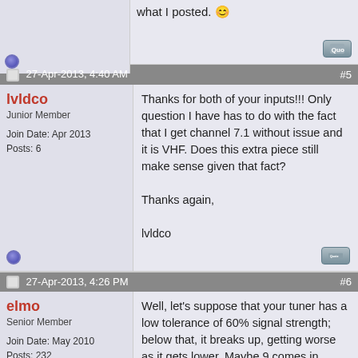what I posted. :)
27-Apr-2013, 4:40 AM  #5
lvldco
Junior Member
Join Date: Apr 2013
Posts: 6
Thanks for both of your inputs!!! Only question I have has to do with the fact that I get channel 7.1 without issue and it is VHF. Does this extra piece still make sense given that fact?

Thanks again,

lvldco
27-Apr-2013, 4:26 PM  #6
elmo
Senior Member
Join Date: May 2010
Posts: 232
Well, let's suppose that your tuner has a low tolerance of 60% signal strength; below that, it breaks up, getting worse as it gets lower. Maybe 9 comes in borderline at 60% while 7 comes in a 65%. It's